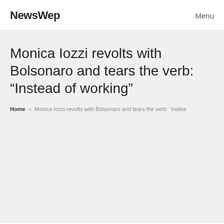NewsWep   Menu
Monica Iozzi revolts with Bolsonaro and tears the verb: “Instead of working”
Home » Monica Iozzi revolts with Bolsonaro and tears the verb: “Instea